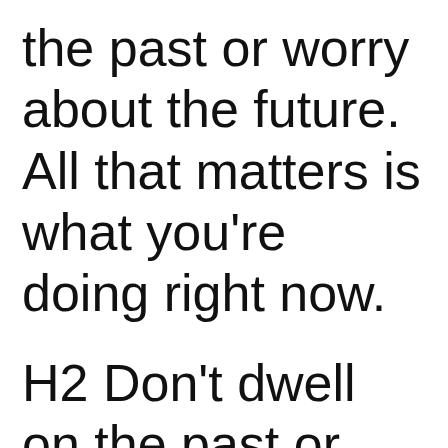the past or worry about the future. All that matters is what you’re doing right now.
H2 Don’t dwell on the past or worry about the future. All that matters is what